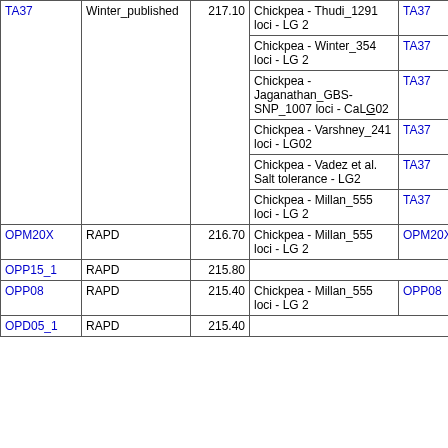| Marker | Type | Position | Map | Marker | Type |
| --- | --- | --- | --- | --- | --- |
| TA37 | Winter_published | 217.10 | Chickpea - Thudi_1291 loci - LG 2 | TA37 | Wi... |
|  |  |  | Chickpea - Winter_354 loci - LG 2 | TA37 | SS... |
|  |  |  | Chickpea - Jaganathan_GBS-SNP_1007 loci - CaLG02 | TA37 | SS... |
|  |  |  | Chickpea - Varshney_241 loci - LG02 | TA37 | SS... |
|  |  |  | Chickpea - Vadez et al. Salt tolerance - LG2 | TA37 | SS... |
|  |  |  | Chickpea - Millan_555 loci - LG 2 | TA37 | RA... |
| OPM20X | RAPD | 216.70 | Chickpea - Millan_555 loci - LG 2 | OPM20X | RA... |
| OPP15_1 | RAPD | 215.80 | No match |  |  |
| OPP08 | RAPD | 215.40 | Chickpea - Millan_555 loci - LG 2 | OPP08 | RA... |
| OPD05_1 | RAPD | 215.40 | No match |  |  |